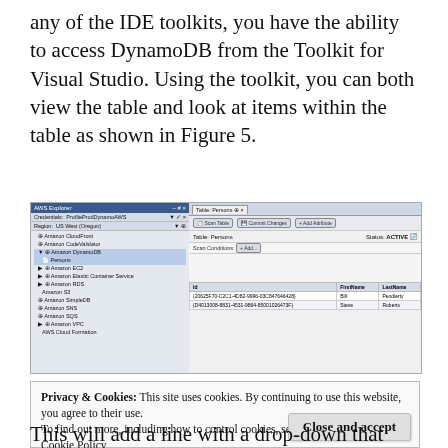any of the IDE toolkits, you have the ability to access DynamoDB from the Toolkit for Visual Studio. Using the toolkit, you can both view the table and look at items within the table as shown in Figure 5.
[Figure (screenshot): Screenshot of AWS Toolkit for Visual Studio showing AWS Explorer panel with Amazon DynamoDB expanded and a Persons table open in the Table: Persons editor tab, with scan results showing Id, FirstName, LastName columns with two rows of data.]
Privacy & Cookies: This site uses cookies. By continuing to use this website, you agree to their use.
To find out more, including how to control cookies, see here: Cookie Policy
This will add a line with a drop-down that